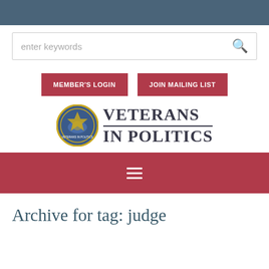enter keywords
MEMBER'S LOGIN
JOIN MAILING LIST
[Figure (logo): Veterans in Politics logo with circular seal and text 'VETERANS IN POLITICS']
Archive for tag: judge